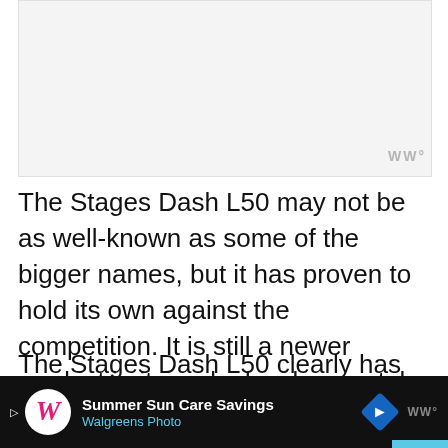[Figure (photo): Light gray placeholder image area at the top of the page]
The Stages Dash L50 may not be as well-known as some of the bigger names, but it has proven to hold its own against the competition. It is still a newer product in its early developmental phase, so that lends to a few kinks we hope to see worked out in future models.
The Stages Dash L50 clearly has the brightest and fullest color option for LCD screens on the ma...
[Figure (screenshot): Walgreens advertisement bar at the bottom: Summer Sun Care Savings, Walgreens Photo, with navigation arrow icon and watermark]